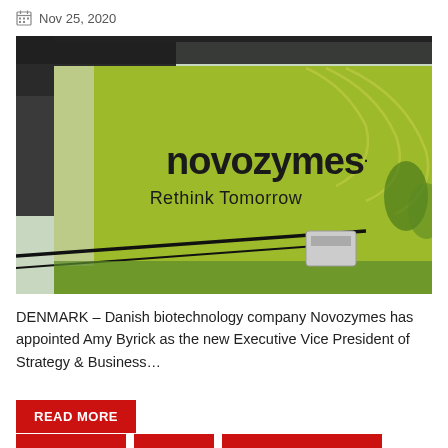Nov 25, 2020
[Figure (photo): Novozymes building exterior sign on a bright green wall reading 'novozymes· Rethink Tomorrow' with decorative curved lines on the upper right, surrounded by greenery and a covered walkway.]
DENMARK – Danish biotechnology company Novozymes has appointed Amy Byrick as the new Executive Vice President of Strategy & Business…